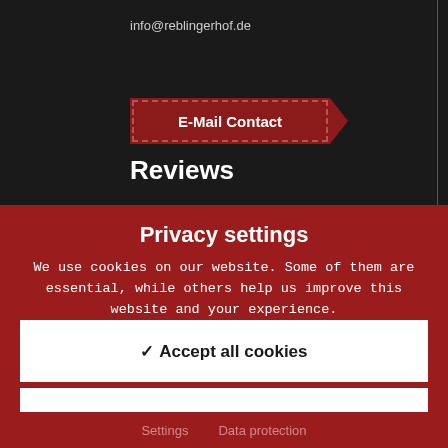info@reblingerhof.de
E-Mail Contact
Reviews
Privacy settings
We use cookies on our website. Some of them are essential, while others help us improve this website and your experience.
✓ Accept all cookies
Allow necessary cookies
Settings   Data protection